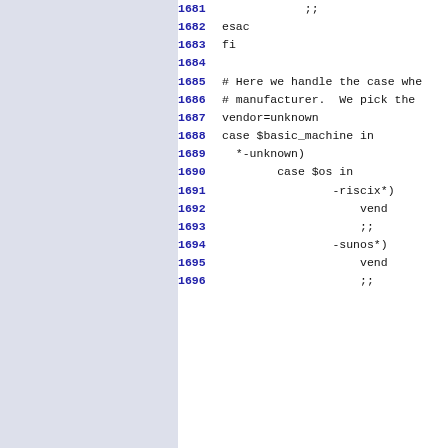Source code listing lines 1681-1696 with line numbers and code content